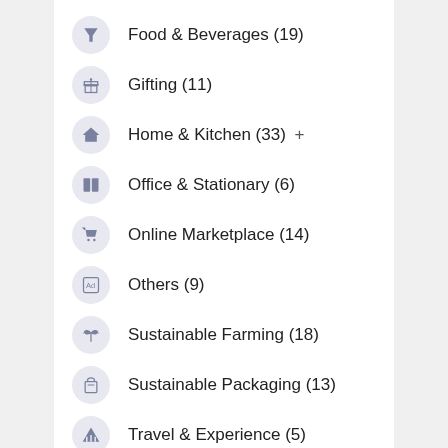Food & Beverages (19)
Gifting (11)
Home & Kitchen (33) +
Office & Stationary (6)
Online Marketplace (14)
Others (9)
Sustainable Farming (18)
Sustainable Packaging (13)
Travel & Experience (5)
Waste Management (21)